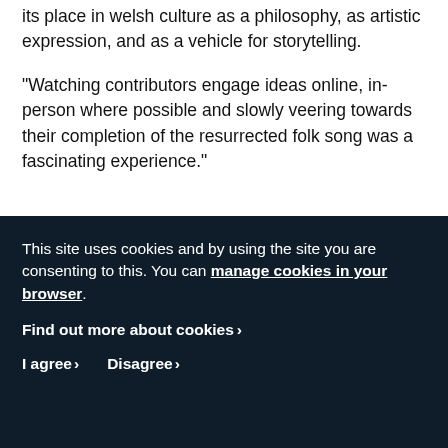its place in welsh culture as a philosophy, as artistic expression, and as a vehicle for storytelling.
"Watching contributors engage ideas online, in-person where possible and slowly veering towards their completion of the resurrected folk song was a fascinating experience."
This site uses cookies and by using the site you are consenting to this. You can manage cookies in your browser.
Find out more about cookies›
I agree› Disagree›